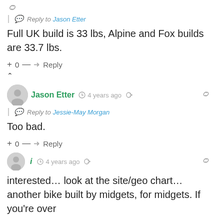Reply to Jason Etter
Full UK build is 33 lbs, Alpine and Fox builds are 33.7 lbs.
+ 0 — Reply
Jason Etter  4 years ago
Reply to Jessie-May Morgan
Too bad.
+ 0 — Reply
i  4 years ago
interested… look at the site/geo chart… another bike built by midgets, for midgets. If you're over